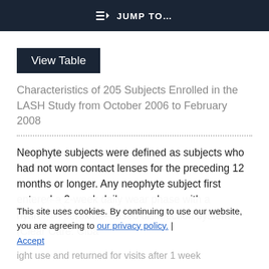≡D  JUMP TO…
View Table
Characteristics of 205 Subjects Enrolled in the LASH Study from October 2006 to February 2008
Neophyte subjects were defined as subjects who had not worn contact lenses for the preceding 12 months or longer. Any neophyte subject first entered a 2-week daily wear phase with a hydrogen peroxide–based disinfection system (Clear Care: Ciba
This site uses cookies. By continuing to use our website, you are agreeing to our privacy policy. | Accept
ight use and returned for visits after 1 week